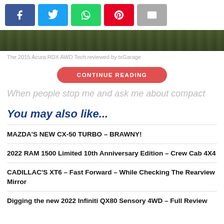[Figure (other): Social share buttons: Facebook (blue), Twitter (cyan), WhatsApp (green), Pinterest (red), Email (gray)]
[Figure (photo): Bottom strip of an outdoor photo showing grass/ground, dark green tones]
The 2015 Acura RDX AWD Tech reviewed by txGarage
CONTINUE READING
When people stop me and ask me about compact
You may also like...
MAZDA'S NEW CX-50 TURBO – BRAWNY!
2022 RAM 1500 Limited 10th Anniversary Edition – Crew Cab 4X4
CADILLAC'S XT6 – Fast Forward – While Checking The Rearview Mirror
Digging the new 2022 Infiniti QX80 Sensory 4WD – Full Review